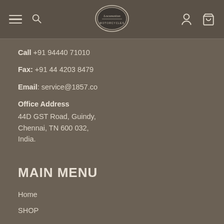Navigation header with hamburger menu, search, logo, account and cart icons
Call +91 94440 71010
Fax: +91 44 4203 8479
Email: service@1857.co
Office Address
44D GST Road, Guindy,
Chennai, TN 600 032,
India.
MAIN MENU
Home
SHOP